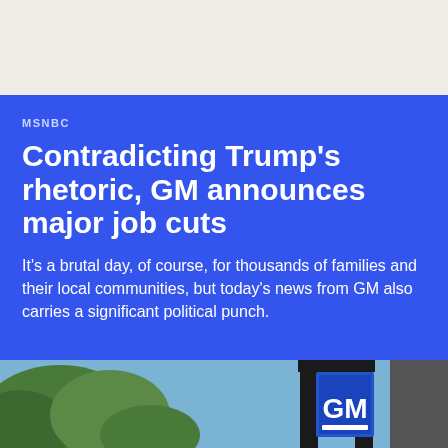MSNBC
Contradicting Trump's rhetoric, GM announces major job cuts
It's a brutal day, of course, for thousands of families and their local communities, but today's news from GM also carries a significant political punch.
[Figure (photo): Outdoor GM (General Motors) sign/logo mounted on a black post structure against a blue sky, with green trees visible in the background.]